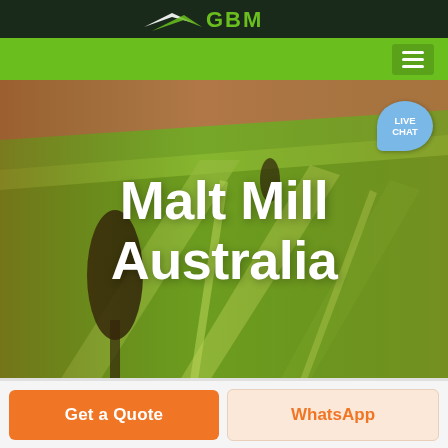GBM Logo
[Figure (screenshot): Green navigation bar with hamburger menu icon on the right]
[Figure (photo): Aerial view of rolling agricultural grain fields with warm golden-green tones and a lone tree silhouette]
Malt Mill Australia
[Figure (illustration): Live Chat speech bubble icon in blue]
Get a Quote
WhatsApp